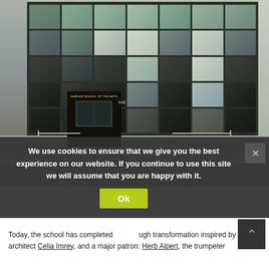[Figure (photo): Exterior photograph of the Harlem School of the Arts building, showing a modern glass facade with dark metal framing, an entrance canopy with the school name, concrete steps, and metal railings. Reflections of street and vehicles visible in the glass panels.]
We use cookies to ensure that we give you the best experience on our website. If you continue to use this site we will assume that you are happy with it.
Today, the school has completed a thorough transformation inspired by an architect Celia Imrey, and a major patron: Herb Alpert, the trumpeter